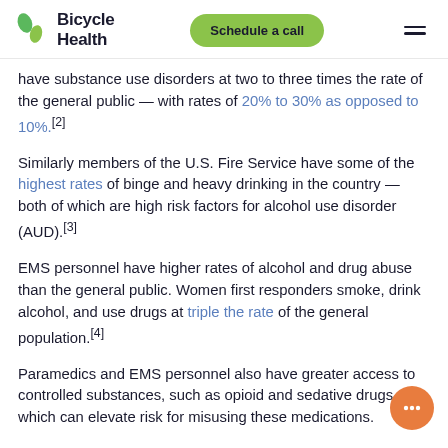Bicycle Health | Schedule a call
have substance use disorders at two to three times the rate of the general public — with rates of 20% to 30% as opposed to 10%.[2]
Similarly members of the U.S. Fire Service have some of the highest rates of binge and heavy drinking in the country — both of which are high risk factors for alcohol use disorder (AUD).[3]
EMS personnel have higher rates of alcohol and drug abuse than the general public. Women first responders smoke, drink alcohol, and use drugs at triple the rate of the general population.[4]
Paramedics and EMS personnel also have greater access to controlled substances, such as opioid and sedative drugs, which can elevate risk for misusing these medications.